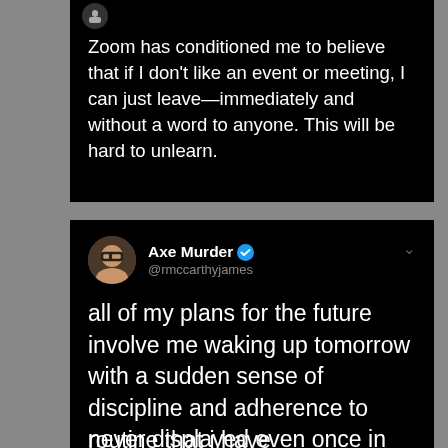[Figure (screenshot): Screenshot of two tweets on a dark/black background. First tweet (cropped, no username visible): 'Zoom has conditioned me to believe that if I don't like an event or meeting, I can just leave—immediately and without a word to anyone. This will be hard to unlearn.' Second tweet by Axe Murder (@rmccarthyjames, verified): 'all of my plans for the future involve me waking up tomorrow with a sudden sense of discipline and adherence to routine that i have never displayed even once in my life' (last line cut off at bottom).]